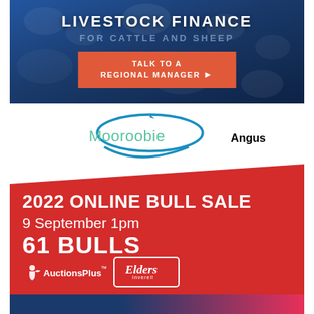[Figure (infographic): Dark blue banner with crowd background showing LIVESTOCK FINANCE FOR CATTLE AND SHEEP text and a red CTA button reading TALK TO A REGIONAL MANAGER]
[Figure (logo): Mooroobie Angus logo with blue oval swoosh and green/teal text]
[Figure (infographic): Red diagonal banner advertising 2022 ONLINE BULL SALE, 9 September 1pm, 61 BULLS, with AuctionsPlus and Elders Inverell logos]
[Figure (infographic): Bottom strip with dark blue and pink/red gradient]